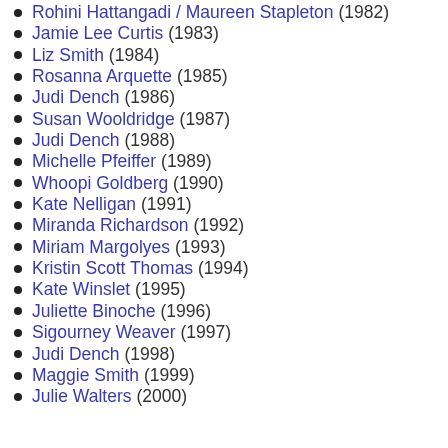Rohini Hattangadi / Maureen Stapleton (1982)
Jamie Lee Curtis (1983)
Liz Smith (1984)
Rosanna Arquette (1985)
Judi Dench (1986)
Susan Wooldridge (1987)
Judi Dench (1988)
Michelle Pfeiffer (1989)
Whoopi Goldberg (1990)
Kate Nelligan (1991)
Miranda Richardson (1992)
Miriam Margolyes (1993)
Kristin Scott Thomas (1994)
Kate Winslet (1995)
Juliette Binoche (1996)
Sigourney Weaver (1997)
Judi Dench (1998)
Maggie Smith (1999)
Julie Walters (2000)